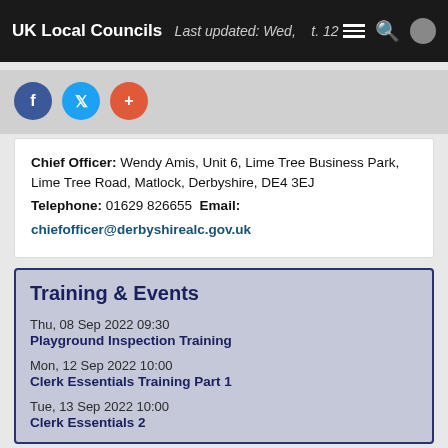UK Local Councils — Last updated: Wed, ... 12
Social share buttons: Facebook, Twitter, Plus
Chief Officer: Wendy Amis, Unit 6, Lime Tree Business Park, Lime Tree Road, Matlock, Derbyshire, DE4 3EJ Telephone: 01629 826655 Email: chiefofficer@derbyshirealc.gov.uk
Training & Events
Thu, 08 Sep 2022 09:30 — Playground Inspection Training
Mon, 12 Sep 2022 10:00 — Clerk Essentials Training Part 1
Tue, 13 Sep 2022 10:00 — Clerk Essentials 2
Wed, 21 Sep 2022 18:00 — ONLINE Councillor Essentials
Fri, 30 Sep 2022 10:00 — ONLINE Cil…